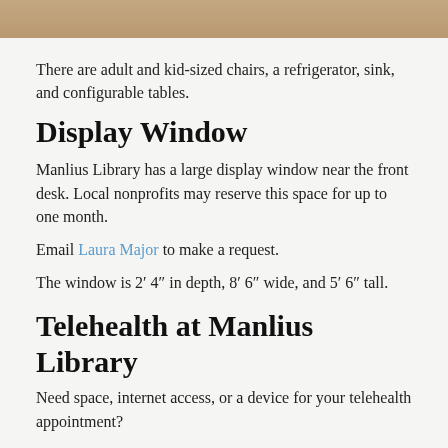[Figure (photo): Tan/brown colored image bar at the top of the page, partial view of a room interior]
There are adult and kid-sized chairs, a refrigerator, sink, and configurable tables.
Display Window
Manlius Library has a large display window near the front desk. Local nonprofits may reserve this space for up to one month.
Email Laura Major to make a request.
The window is 2′ 4″ in depth, 8′ 6″ wide, and 5′ 6″ tall.
Telehealth at Manlius Library
Need space, internet access, or a device for your telehealth appointment?
As part of the NY Statewide Senior Action Council program, Manlius Library is proud to offer our meeting